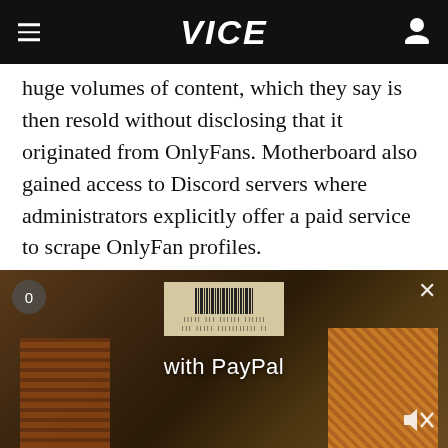VICE
huge volumes of content, which they say is then resold without disclosing that it originated from OnlyFans. Motherboard also gained access to Discord servers where administrators explicitly offer a paid service to scrape OnlyFan profiles.
"Some people own server farms that download terabytes of data every day from OF [OnlyFans],"
[Figure (screenshot): Video overlay showing a photo of Amazon boxes and crates with a PayPal branded ad overlay showing 'with PayPal' text, with a counter showing 0, a close button X, and a mute button]